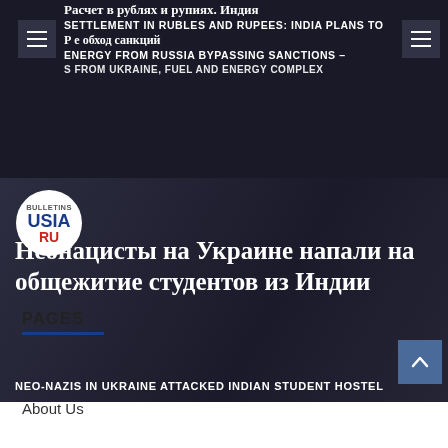[Figure (screenshot): Top news banner with dark overlay showing Russian and English text headlines about settlement in rubles and rupees, India plans to buy energy from Russia bypassing sanctions]
Расчет в рублях и рупиях. Индия
SETTLEMENT IN RUBLES AND RUPEES: INDIA PLANS TO BUY ENERGY FROM RUSSIA BYPASSING SANCTIONS
Р е обход санкций
S FROM UKRAINE, FUEL AND ENERGY COMPLEX
[Figure (screenshot): Main article banner with dark background, USIA.RU logo badge, Russian headline 'Неонацисты на Украине напали на общежитие студентов из Индии' and English subtitle 'NEO-NAZIS IN UKRAINE ATTACKED INDIAN STUDENT HOSTEL']
Неонацисты на Украине напали на общежитие студентов из Индии
NEO-NAZIS IN UKRAINE ATTACKED INDIAN STUDENT HOSTEL
PAGES
About Us